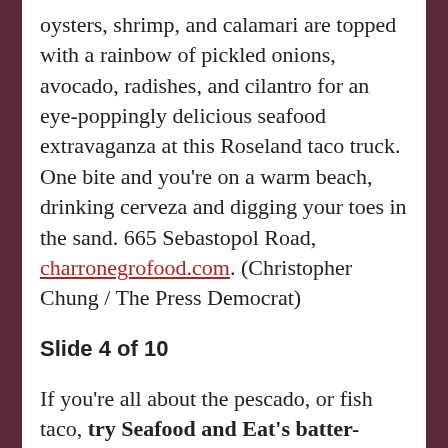oysters, shrimp, and calamari are topped with a rainbow of pickled onions, avocado, radishes, and cilantro for an eye-poppingly delicious seafood extravaganza at this Roseland taco truck. One bite and you're on a warm beach, drinking cerveza and digging your toes in the sand. 665 Sebastopol Road, charronegrofood.com. (Christopher Chung / The Press Democrat)
Slide 4 of 10
If you're all about the pescado, or fish taco, try Seafood and Eat's batter-dipped locally-caught cod tacos. 9238 Old Redwood Highway, Suite 128, Windso... [truncated]